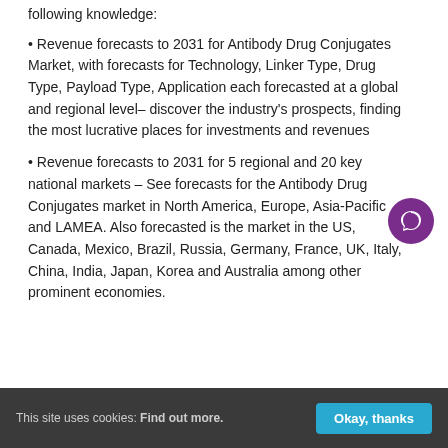following knowledge:
• Revenue forecasts to 2031 for Antibody Drug Conjugates Market, with forecasts for Technology, Linker Type, Drug Type, Payload Type, Application each forecasted at a global and regional level– discover the industry's prospects, finding the most lucrative places for investments and revenues
• Revenue forecasts to 2031 for 5 regional and 20 key national markets – See forecasts for the Antibody Drug Conjugates market in North America, Europe, Asia-Pacific and LAMEA. Also forecasted is the market in the US, Canada, Mexico, Brazil, Russia, Germany, France, UK, Italy, China, India, Japan, Korea and Australia among other prominent economies.
This site uses cookies: Find out more. Okay, thanks